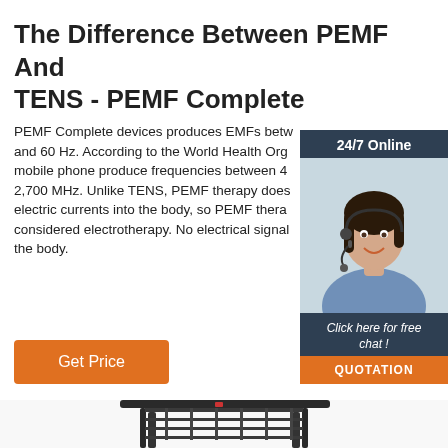The Difference Between PEMF And TENS - PEMF Complete
PEMF Complete devices produces EMFs between and 60 Hz. According to the World Health Org mobile phone produce frequencies between 4 2,700 MHz. Unlike TENS, PEMF therapy does electric currents into the body, so PEMF thera considered electrotherapy. No electrical signal the body.
[Figure (photo): Customer service representative with headset, 24/7 Online chat widget with orange QUOTATION button]
[Figure (photo): PEMF device/equipment partially visible at bottom of page]